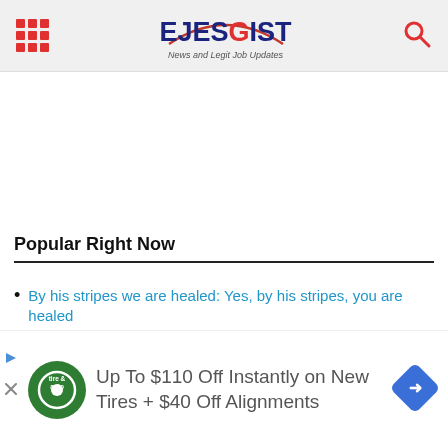EJESGIST — News and Legit Job Updates
Popular Right Now
By his stripes we are healed: Yes, by his stripes, you are healed
3 Most Dangerous Psalms No Enemy Can Withstand
Champions League group stage draw 2022/23: Full of UCL group stage draw
[Figure (infographic): Advertisement banner: Up To $110 Off Instantly on New Tires + $40 Off Alignments, with Tire & Auto logo and blue navigation arrow icon]